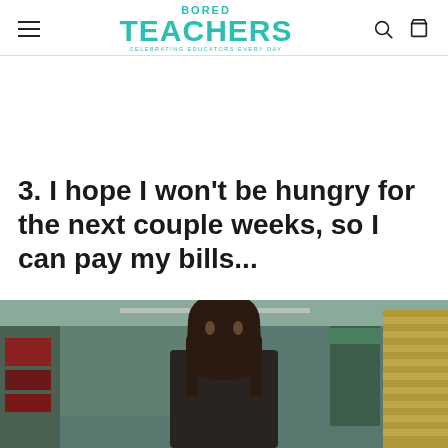Bored Teachers — Celebrating Educators Every Day
3. I hope I won't be hungry for the next couple weeks, so I can pay my bills...
[Figure (photo): A woman with long dark hair standing in what appears to be a school hallway or classroom, looking at the camera with a neutral expression. The background shows ceiling lights, blinds, and a door.]